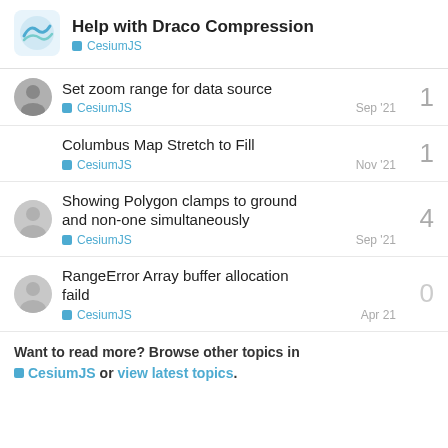Help with Draco Compression — CesiumJS
Set zoom range for data source — CesiumJS — Sep '21 — replies: 1
Columbus Map Stretch to Fill — CesiumJS — Nov '21 — replies: 1
Showing Polygon clamps to ground and non-one simultaneously — CesiumJS — Sep '21 — replies: 4
RangeError Array buffer allocation faild — CesiumJS — Apr 21 — replies: 0
Want to read more? Browse other topics in CesiumJS or view latest topics.